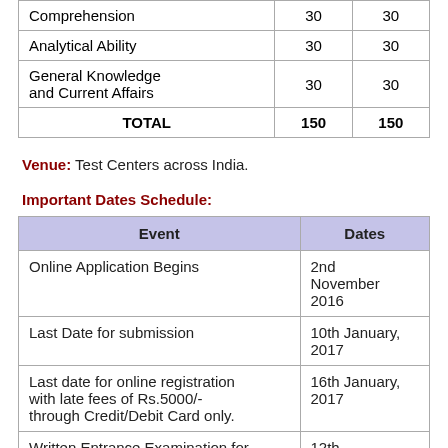| Subject | Questions | Marks |
| --- | --- | --- |
| Comprehension | 30 | 30 |
| Analytical Ability | 30 | 30 |
| General Knowledge and Current Affairs | 30 | 30 |
| TOTAL | 150 | 150 |
Venue: Test Centers across India.
Important Dates Schedule:
| Event | Dates |
| --- | --- |
| Online Application Begins | 2nd November 2016 |
| Last Date for submission | 10th January, 2017 |
| Last date for online registration with late fees of Rs.5000/- through Credit/Debit Card only. | 16th January, 2017 |
| Written Entrance Examination for | 12th |